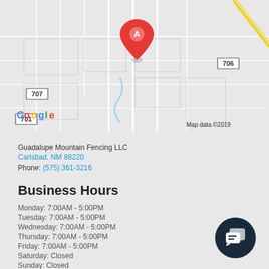[Figure (map): Google Map showing location marker 'A' near Carlsbad, NM with route numbers 706, 707, 701 visible. Map data ©2019.]
Guadalupe Mountain Fencing LLC
Carlsbad, NM 88220
Phone: (575) 361-3216
Business Hours
Monday: 7:00AM - 5:00PM
Tuesday: 7:00AM - 5:00PM
Wednesday: 7:00AM - 5:00PM
Thursday: 7:00AM - 5:00PM
Friday: 7:00AM - 5:00PM
Saturday: Closed
Sunday: Closed